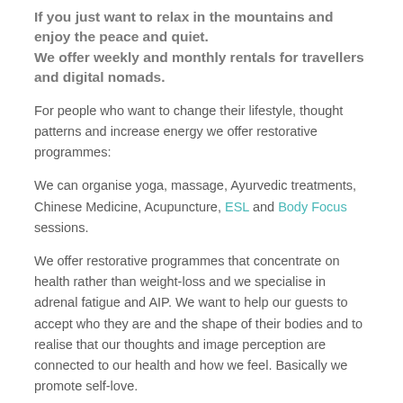If you just want to relax in the mountains and enjoy the peace and quiet.
We offer weekly and monthly rentals for travellers and digital nomads.
For people who want to change their lifestyle, thought patterns and increase energy we offer restorative programmes:
We can organise yoga, massage, Ayurvedic treatments, Chinese Medicine, Acupuncture, ESL and Body Focus sessions.
We offer restorative programmes that concentrate on health rather than weight-loss and we specialise in adrenal fatigue and AIP. We want to help our guests to accept who they are and the shape of their bodies and to realise that our thoughts and image perception are connected to our health and how we feel. Basically we promote self-love.